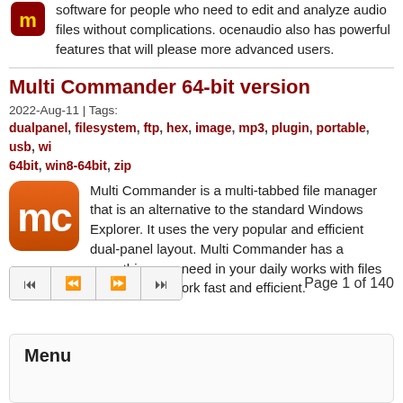software for people who need to edit and analyze audio files without complications. ocenaudio also has powerful features that will please more advanced users.
Multi Commander 64-bit version
2022-Aug-11 | Tags:
dualpanel, filesystem, ftp, hex, image, mp3, plugin, portable, usb, wi 64bit, win8-64bit, zip
[Figure (logo): Multi Commander application icon - orange rounded square with white mc letters]
Multi Commander is a multi-tabbed file manager that is an alternative to the standard Windows Explorer. It uses the very popular and efficient dual-panel layout. Multi Commander has a everything you need in your daily works with files to make your work fast and efficient.
Page 1 of 140
Menu